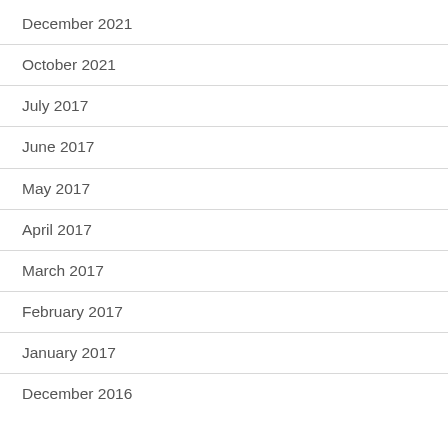December 2021
October 2021
July 2017
June 2017
May 2017
April 2017
March 2017
February 2017
January 2017
December 2016